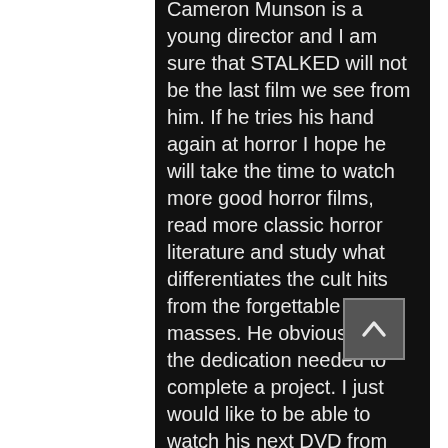Cameron Munson is a young director and I am sure that STALKED will not be the last film we see from him. If he tries his hand again at horror I hope he will take the time to watch more good horror films, read more classic horror literature and study what differentiates the cult hits from the forgettable masses. He obviously has the dedication needed to complete a project. I just would like to be able to watch his next DVD from beginning to the end.
Apologies, Munson, for the trash bag full of blood and guts...
Tags: